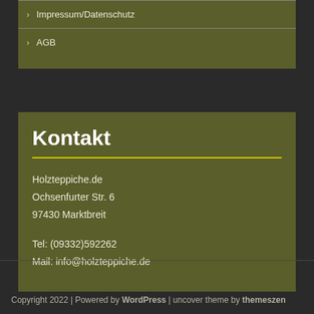Impressum/Datenschutz
AGB
Kontakt
Holzteppiche.de
Ochsenfurter Str. 6
97430 Marktbreit
Tel: (09332)592262
Mail: info@holzteppiche.de
Copyright 2022 | Powered by WordPress | uncover theme by themeszen